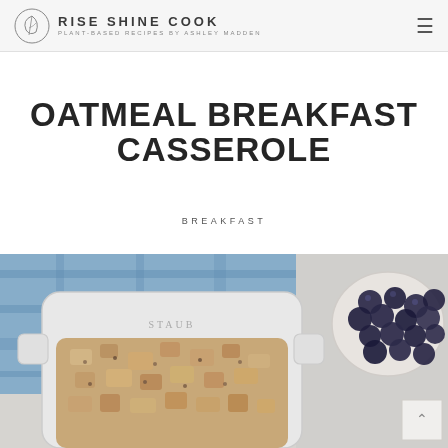RISE SHINE COOK — PLANT-BASED RECIPES BY ASHLEY MADDEN
OATMEAL BREAKFAST CASSEROLE
BREAKFAST
[Figure (photo): Overhead photo of a white Staub casserole dish filled with baked oatmeal breakfast casserole, placed on a blue plaid cloth napkin. A bowl of fresh blueberries is visible in the upper right corner on a light grey surface.]